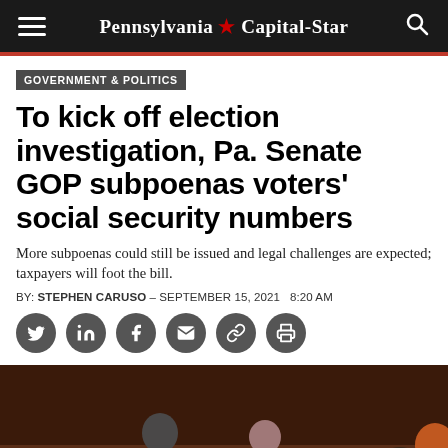Pennsylvania ★ Capital-Star
GOVERNMENT & POLITICS
To kick off election investigation, Pa. Senate GOP subpoenas voters' social security numbers
More subpoenas could still be issued and legal challenges are expected; taxpayers will foot the bill.
BY: STEPHEN CARUSO – SEPTEMBER 15, 2021   8:20 AM
[Figure (photo): Pennsylvania Senate committee hearing room with multiple senators seated at a dais, seen from the floor level. Nameplate signs visible in front of senators.]